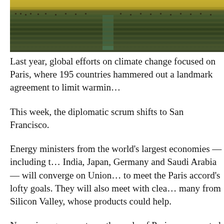[Figure (photo): Wide-angle view of a packed international assembly hall, resembling the UN General Assembly, with rows of delegates seated at desks and a golden/green dais at the front.]
Last year, global efforts on climate change focused on Paris, where 195 countries hammered out a landmark agreement to limit warmin…
This week, the diplomatic scrum shifts to San Francisco.
Energy ministers from the world's largest economies — including the India, Japan, Germany and Saudi Arabia — will converge on Union… to meet the Paris accord's lofty goals. They will also meet with clea… many from Silicon Valley, whose products could help.
No major agreements on the scale of Paris are expected at the Clean… related events, which run from Tuesday to Friday. Instead, delegates… sometimes unglamorous work of finding and sharing ways to kee…